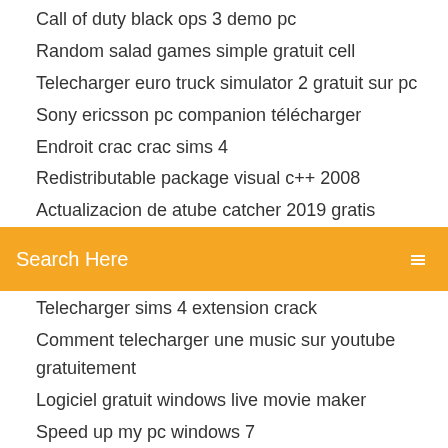Call of duty black ops 3 demo pc
Random salad games simple gratuit cell
Telecharger euro truck simulator 2 gratuit sur pc
Sony ericsson pc companion télécharger
Endroit crac crac sims 4
Redistributable package visual c++ 2008
Actualizacion de atube catcher 2019 gratis
[Figure (screenshot): Orange search bar with 'Search Here' placeholder text and a search icon on the right]
Telecharger sims 4 extension crack
Comment telecharger une music sur youtube gratuitement
Logiciel gratuit windows live movie maker
Speed up my pc windows 7
Flasher une clé usb verbatim
Star wars empire at war gold mac
Telecharger windows xp bootable usb iso
Publier une photo sur instagram depuis son ordinateur
Nom de lapplication qui deforme le visage et la voix
Comment flouter le fond dune photo photoshop